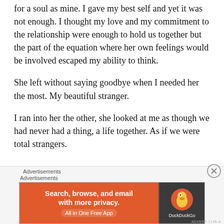for a soul as mine. I gave my best self and yet it was not enough. I thought my love and my commitment to the relationship were enough to hold us together but the part of the equation where her own feelings would be involved escaped my ability to think.
She left without saying goodbye when I needed her the most. My beautiful stranger.
I ran into her the other, she looked at me as though we had never had a thing, a life together. As if we were total strangers.
Advertisements
Advertisements
[Figure (other): DuckDuckGo advertisement banner: orange left panel with text 'Search, browse, and email with more privacy. All in One Free App', dark right panel with DuckDuckGo duck logo and brand name.]